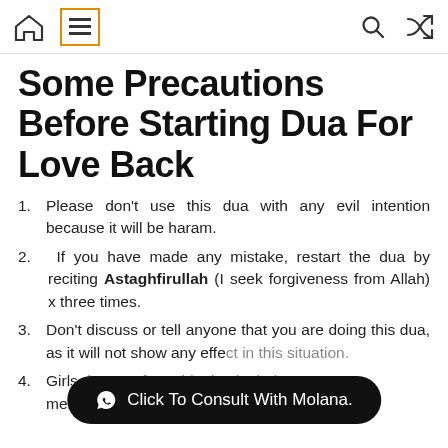[Navigation bar with home icon, hamburger menu, search icon, shuffle icon]
Some Precautions Before Starting Dua For Love Back
Please don't use this dua with any evil intention because it will be haram.
If you have made any mistake, restart the dua by reciting Astaghfirullah (I seek forgiveness from Allah) x three times.
Don't discuss or tell anyone that you are doing this dua, as it will not show any effe[ct in this situation].
Girls don't perform this dua in their menses.
Click To Consult With Molana.